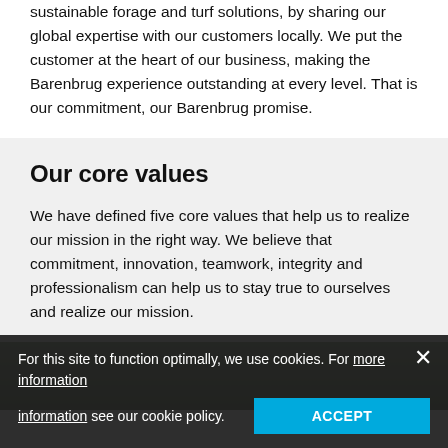sustainable forage and turf solutions, by sharing our global expertise with our customers locally. We put the customer at the heart of our business, making the Barenbrug experience outstanding at every level. That is our commitment, our Barenbrug promise.
Our core values
We have defined five core values that help us to realize our mission in the right way. We believe that commitment, innovation, teamwork, integrity and professionalism can help us to stay true to ourselves and realize our mission.
[Figure (photo): Partial photograph of people outdoors, partially obscured by cookie consent banner]
For this site to function optimally, we use cookies. For more information see our cookie policy. ACCEPT